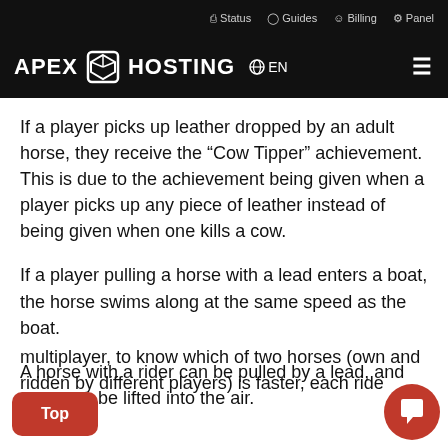Status  Guides  Billing  Panel
[Figure (logo): APEX HOSTING logo with cube icon, EN language selector, and hamburger menu on black background]
If a player picks up leather dropped by an adult horse, they receive the “Cow Tipper” achievement. This is due to the achievement being given when a player picks up any piece of leather instead of being given when one kills a cow.
If a player pulling a horse with a lead enters a boat, the horse swims along at the same speed as the boat.
A horse with a rider can be pulled by a lead, and can even be lifted into the air.
multiplayer, to know which of two horses (owned and ridden by different players) is faster, each rider...